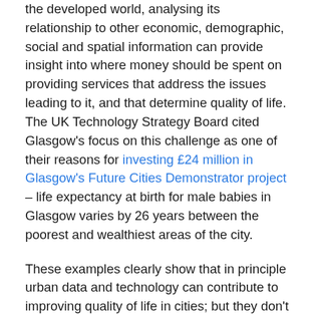the developed world, analysing its relationship to other economic, demographic, social and spatial information can provide insight into where money should be spent on providing services that address the issues leading to it, and that determine quality of life. The UK Technology Strategy Board cited Glasgow's focus on this challenge as one of their reasons for investing £24 million in Glasgow's Future Cities Demonstrator project – life expectancy at birth for male babies in Glasgow varies by 26 years between the poorest and wealthiest areas of the city.
These examples clearly show that in principle urban data and technology can contribute to improving quality of life in cities; but they don't explain how to do so systematically across the very many aspects of quality of life and city systems, and between the great variety of urban environments and cultures throughout the world.